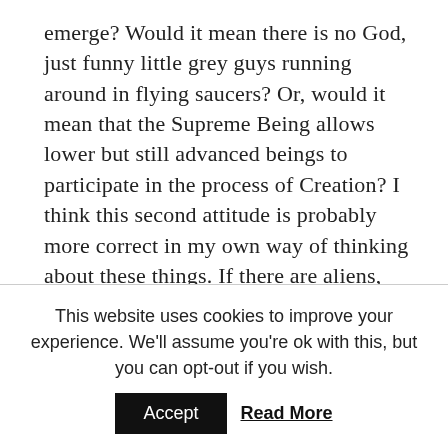emerge?  Would it mean there is no God, just funny little grey guys running around in flying saucers?  Or, would it mean that the Supreme Being allows lower but still advanced beings to participate in the process of Creation?  I think this second attitude is probably more correct in my own way of thinking about these things.  If there are aliens, who created them?  Other aliens perhaps?  And who created the other aliens?  Still other aliens?  Or is there a Divine Mystical Source that chooses to create in stages giving His/Her children the power to create and co-create on their own?  If this is true, then the Biblical story
This website uses cookies to improve your experience. We'll assume you're ok with this, but you can opt-out if you wish.
Accept   Read More